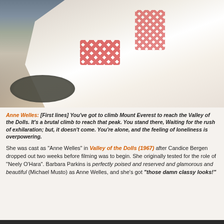[Figure (photo): A woman in a white robe with red diamond pattern trim sits on a couch or chair, appearing to be on a film set. A dark round tray with small objects is visible in the foreground.]
Anne Welles: [First lines] You've got to climb Mount Everest to reach the Valley of the Dolls. It's a brutal climb to reach that peak. You stand there, waiting for the rush of exhilaration; but, it doesn't come. You're alone, and the feeling of loneliness is overpowering.
She was cast as "Anne Welles" in Valley of the Dolls (1967) after Candice Bergen dropped out two weeks before filming was to begin. She originally tested for the role of "Neely O'Hara". Barbara Parkins is perfectly poised and reserved and glamorous and beautiful (Michael Musto) as Anne Welles, and she's got "those damn classy looks!"